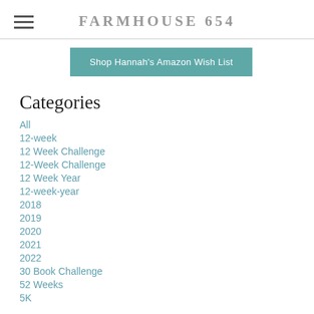FARMHOUSE 654
[Figure (other): Teal/dark teal button: Shop Hannah's Amazon Wish List]
Categories
All
12-week
12 Week Challenge
12-Week Challenge
12 Week Year
12-week-year
2018
2019
2020
2021
2022
30 Book Challenge
52 Weeks
5K